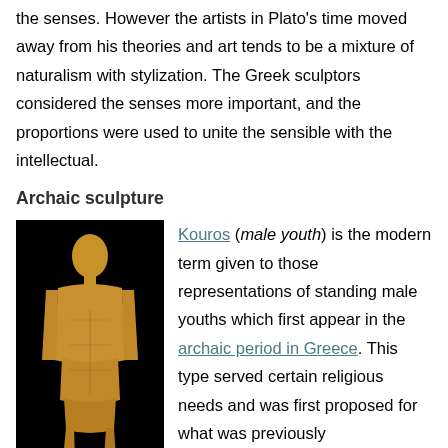the senses. However the artists in Plato's time moved away from his theories and art tends to be a mixture of naturalism with stylization. The Greek sculptors considered the senses more important, and the proportions were used to unite the sensible with the intellectual.
Archaic sculpture
[Figure (photo): A Kouros statue — a standing male youth sculpted in stone, photographed against a black background.]
Kouros (male youth) is the modern term given to those representations of standing male youths which first appear in the archaic period in Greece. This type served certain religious needs and was first proposed for what was previously thought to be depictions of Apollo. The first statues are certainly still and formal. The formality of their